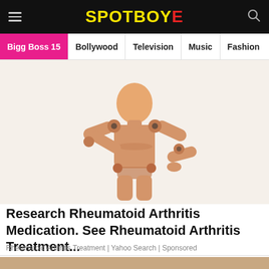SPOTBOYE
Bigg Boss 15 | Bollywood | Television | Music | Fashion
[Figure (photo): Wooden articulated mannequin figure posing with one arm across chest and other hand on hip, suggesting joint pain or arthritis]
Research Rheumatoid Arthritis Medication. See Rheumatoid Arthritis Treatment...
Rheumatoid Arthritis Treatment | Yahoo Search | Sponsored